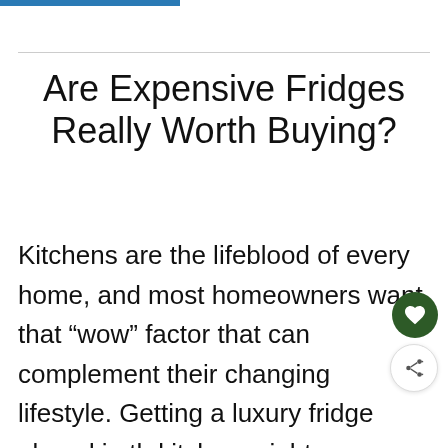Are Expensive Fridges Really Worth Buying?
Kitchens are the lifeblood of every home, and most homeowners want that “wow” factor that can complement their changing lifestyle. Getting a luxury fridge placed in the kitchen might seem enticing, but are